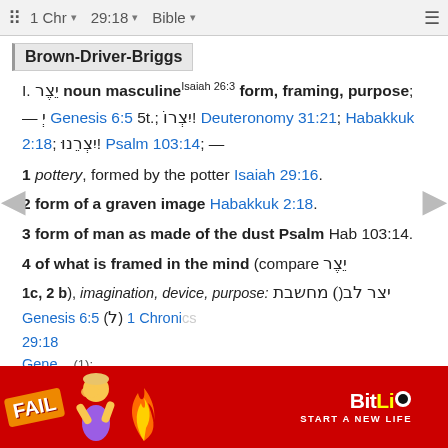1 Chr  29:18  Bible
Brown-Driver-Briggs
I. יֵצֶר noun masculine Isaiah 26:3 form, framing, purpose; — יְ Genesis 6:5 5t.; יִצְרוֹ Deuteronomy 31:21; Habakkuk 2:18; יִצְרֵנוּ Psalm 103:14; —
1 pottery, formed by the potter Isaiah 29:16.
2 form of a graven image Habakkuk 2:18.
3 form of man as made of the dust Psalm Hab 103:14.
4 of what is framed in the mind (compare יֵצֶר
1c, 2 b), imagination, device, purpose: יצר לב מחשבת Genesis 6:5 (ל) 1 Chronicles 29:18
[Figure (screenshot): BitLife advertisement banner with FAIL graphic and cartoon character]